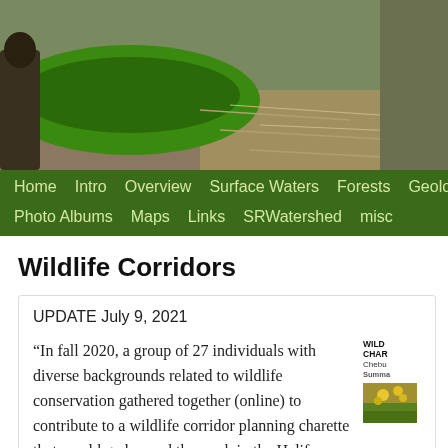[Figure (photo): Header photo showing a green canoe and outdoor/nature scene with muddy ground and dry grass]
Home  Intro  Overview  Surface Waters  Forests  Geology  Photo Albums  Maps  Links  SRWatershed  misc
Wildlife Corridors
UPDATE July 9, 2021
“In fall 2020, a group of 27 individuals with diverse backgrounds related to wildlife conservation gathered together (online) to contribute to a wildlife corridor planning charette that would go beyond the work in the Halifax Green Network Plan. The charette brought in the knowledge of local experts, including people
[Figure (other): Sidebar with text: WILDLIFE CHARETTE, Chebucto, Summary, and a small photo of yellow wildflowers]